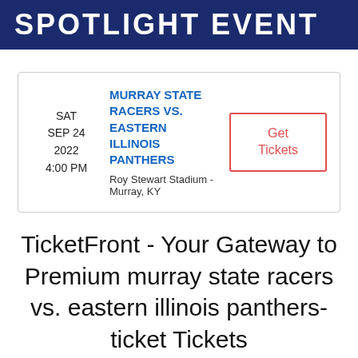SPOTLIGHT EVENT
| SAT
SEP 24
2022
4:00 PM | MURRAY STATE RACERS VS. EASTERN ILLINOIS PANTHERS
Roy Stewart Stadium - Murray, KY | Get Tickets |
TicketFront - Your Gateway to Premium murray state racers vs. eastern illinois panthers-ticket Tickets